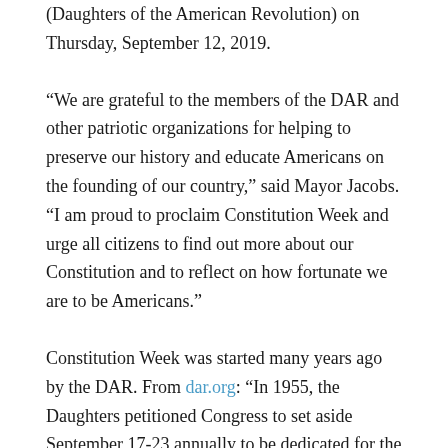(Daughters of the American Revolution) on Thursday, September 12, 2019.
“We are grateful to the members of the DAR and other patriotic organizations for helping to preserve our history and educate Americans on the founding of our country,” said Mayor Jacobs. “I am proud to proclaim Constitution Week and urge all citizens to find out more about our Constitution and to reflect on how fortunate we are to be Americans.”
Constitution Week was started many years ago by the DAR. From dar.org: “In 1955, the Daughters petitioned Congress to set aside September 17-23 annually to be dedicated for the observance of Constitution Week. The resolution was later adopted by the U.S. Congress and signed into Public Law #915 on August 2, 1956 by President Dwight D. Eisenhower. The aims of the celebration are to (1) emphasize citizens’ responsibilities for protecting and defending the Constitution.